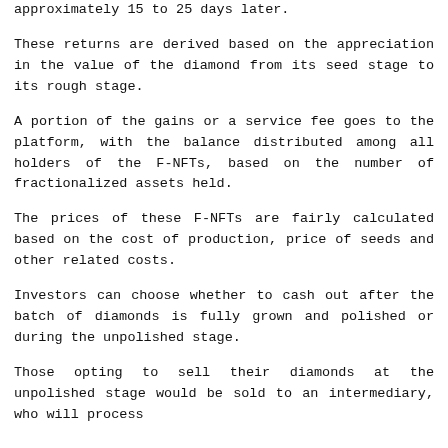approximately 15 to 25 days later.
These returns are derived based on the appreciation in the value of the diamond from its seed stage to its rough stage.
A portion of the gains or a service fee goes to the platform, with the balance distributed among all holders of the F-NFTs, based on the number of fractionalized assets held.
The prices of these F-NFTs are fairly calculated based on the cost of production, price of seeds and other related costs.
Investors can choose whether to cash out after the batch of diamonds is fully grown and polished or during the unpolished stage.
Those opting to sell their diamonds at the unpolished stage would be sold to an intermediary, who will process